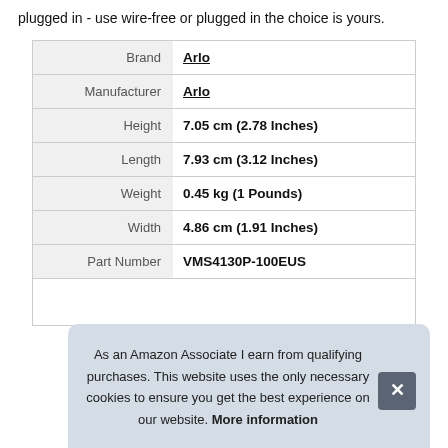plugged in - use wire-free or plugged in the choice is yours.
| Brand | Arlo |
| Manufacturer | Arlo |
| Height | 7.05 cm (2.78 Inches) |
| Length | 7.93 cm (3.12 Inches) |
| Weight | 0.45 kg (1 Pounds) |
| Width | 4.86 cm (1.91 Inches) |
| Part Number | VMS4130P-100EUS |
As an Amazon Associate I earn from qualifying purchases. This website uses the only necessary cookies to ensure you get the best experience on our website. More information